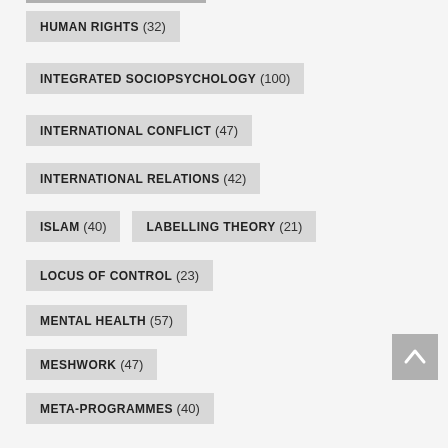HUMAN RIGHTS (32)
INTEGRATED SOCIOPSYCHOLOGY (100)
INTERNATIONAL CONFLICT (47)
INTERNATIONAL RELATIONS (42)
ISLAM (40)
LABELLING THEORY (21)
LOCUS OF CONTROL (23)
MENTAL HEALTH (57)
MESHWORK (47)
META-PROGRAMMES (40)
META-STATES (36)
MIDDLE EAST (43)
MIGRATION (41)
MORALITY (52)